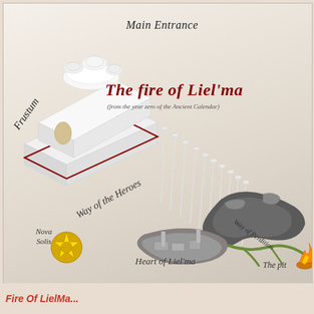[Figure (illustration): Fantasy map/diagram of a dungeon or temple called 'The fire of Liel'ma' (from the year zero of the Ancient Calendar). Shows a white temple structure labeled 'Main Entrance' at top with 'Frustum' on the left side, a 'Way of the Heroes' path leading down to a cave/dungeon area. Labels include 'Nova Solis' with a golden star emblem, 'Heart of Liel'ma', 'Way of Perdition', and 'The pit' with flame imagery.]
Fire Of LielMa...